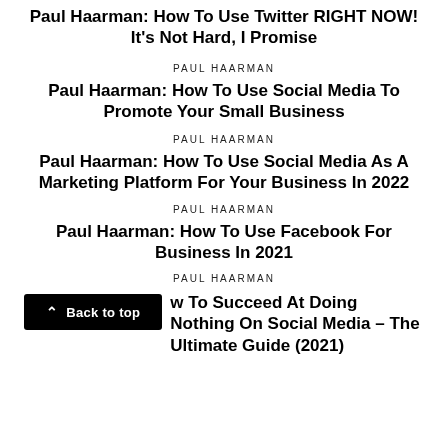Paul Haarman: How To Use Twitter RIGHT NOW! It’s Not Hard, I Promise
PAUL HAARMAN
Paul Haarman: How To Use Social Media To Promote Your Small Business
PAUL HAARMAN
Paul Haarman: How To Use Social Media As A Marketing Platform For Your Business In 2022
PAUL HAARMAN
Paul Haarman: How To Use Facebook For Business In 2021
PAUL HAARMAN
Back to top
Paul Haarman: How To Succeed At Doing Nothing On Social Media – The Ultimate Guide (2021)